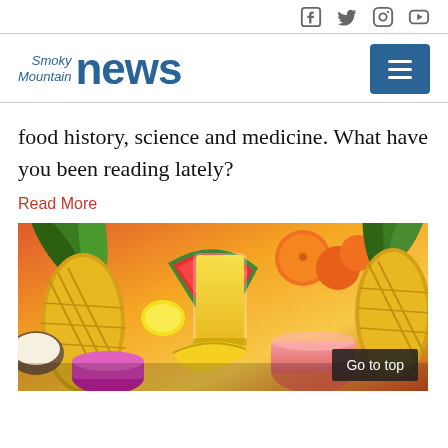[Social icons: Facebook, Twitter, Instagram, YouTube]
[Figure (logo): Smoky Mountain News logo with hamburger menu button]
food history, science and medicine. What have you been reading lately?
Read More
[Figure (photo): Colorful tropical fruit spread with smoothies: pineapples, watermelon, oranges, bananas, and blended fruit drinks in glasses]
Go to top